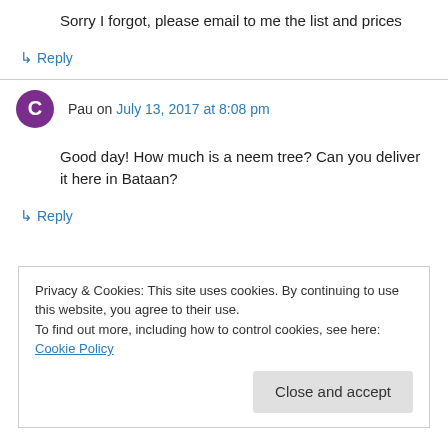Sorry I forgot, please email to me the list and prices
↳ Reply
Pau on July 13, 2017 at 8:08 pm
Good day! How much is a neem tree? Can you deliver it here in Bataan?
↳ Reply
Privacy & Cookies: This site uses cookies. By continuing to use this website, you agree to their use.
To find out more, including how to control cookies, see here: Cookie Policy